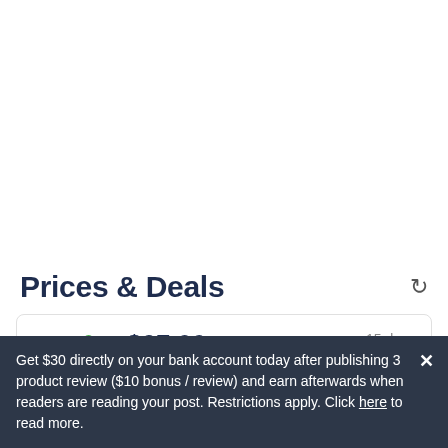Prices & Deals
[Figure (logo): Total Wine & More logo]
$27.99
Starting as low as $27.99 at Total Wine
15 days ago
Get $30 directly on your bank account today after publishing 3 product review ($10 bonus / review) and earn afterwards when readers are reading your post. Restrictions apply. Click here to read more.